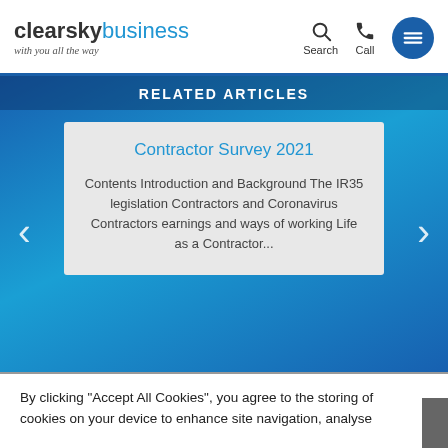[Figure (logo): ClearSky Business logo with tagline 'with you all the way']
[Figure (screenshot): Website navigation icons: Search (magnifying glass), Call (phone), and hamburger menu button (blue circle with three lines)]
Related Articles
Contractor Survey 2021
Contents Introduction and Background The IR35 legislation Contractors and Coronavirus Contractors earnings and ways of working Life as a Contractor...
By clicking "Accept All Cookies", you agree to the storing of cookies on your device to enhance site navigation, analyse